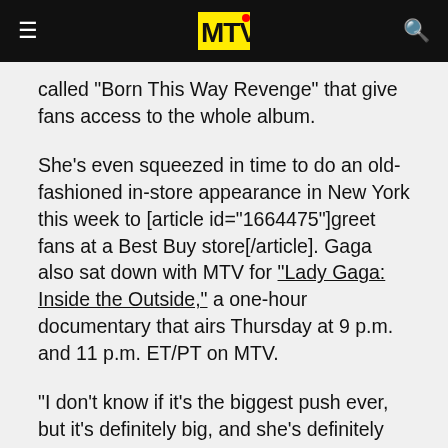MTV
called "Born This Way Revenge" that give fans access to the whole album.
She's even squeezed in time to do an old-fashioned in-store appearance in New York this week to [article id="1664475"]greet fans at a Best Buy store[/article]. Gaga also sat down with MTV for "Lady Gaga: Inside the Outside," a one-hour documentary that airs Thursday at 9 p.m. and 11 p.m. ET/PT on MTV.
"I don't know if it's the biggest push ever, but it's definitely big, and she's definitely giving it her all," said Ian Drew, senior music editor of Us Weekly, which just released a special edition of the magazine dedicated to Gaga. "Beyoncé has had some huge ones and Madonna back in the day ... so it's not bigger, but just different.